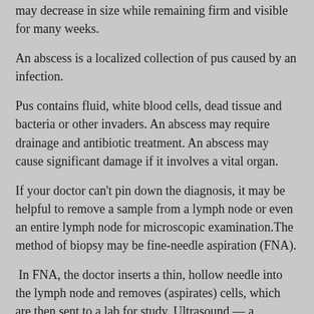may decrease in size while remaining firm and visible for many weeks.
An abscess is a localized collection of pus caused by an infection.
Pus contains fluid, white blood cells, dead tissue and bacteria or other invaders. An abscess may require drainage and antibiotic treatment. An abscess may cause significant damage if it involves a vital organ.
If your doctor can't pin down the diagnosis, it may be helpful to remove a sample from a lymph node or even an entire lymph node for microscopic examination.The method of biopsy may be fine-needle aspiration (FNA).
In FNA, the doctor inserts a thin, hollow needle into the lymph node and removes (aspirates) cells, which are then sent to a lab for study. Ultrasound — a noninvasive procedure that uses sound waves to create images of organs and tissues — may be used to guide the needle and more.